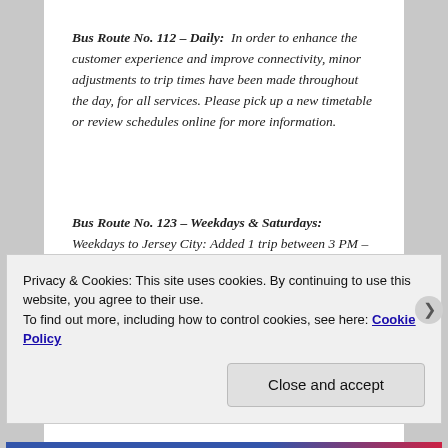Bus Route No. 112 – Daily: In order to enhance the customer experience and improve connectivity, minor adjustments to trip times have been made throughout the day, for all services. Please pick up a new timetable or review schedules online for more information.
Bus Route No. 123 – Weekdays & Saturdays: Weekdays to Jersey City: Added 1 trip between 3 PM – 5 PM and 3 trips between 6:50 PM – 10:40 PM.
Privacy & Cookies: This site uses cookies. By continuing to use this website, you agree to their use. To find out more, including how to control cookies, see here: Cookie Policy